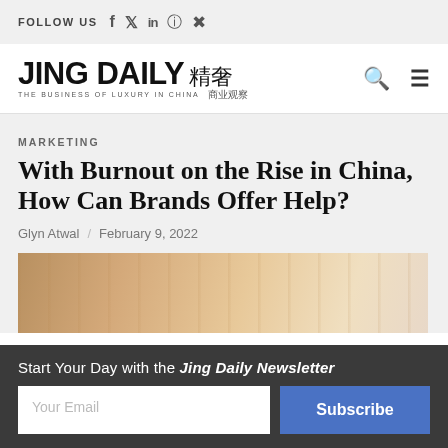FOLLOW US
[Figure (logo): Jing Daily logo with Chinese characters — THE BUSINESS OF LUXURY IN CHINA]
MARKETING
With Burnout on the Rise in China, How Can Brands Offer Help?
Glyn Atwal / February 9, 2022
[Figure (photo): Blurred interior architectural photo with warm beige tones]
Start Your Day with the Jing Daily Newsletter